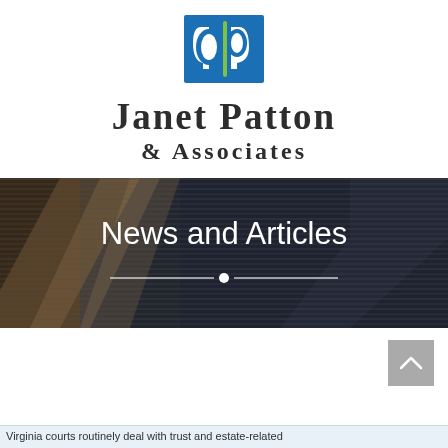[Figure (logo): Janet Patton & Associates law firm logo with blue square containing stylized 'dp' letters and green accent, with firm name below]
News and Articles
[Figure (photo): Dark banner image with diagonal light streaks over dark background, serving as website section header for News and Articles]
Virginia courts routinely deal with trust and estate-related